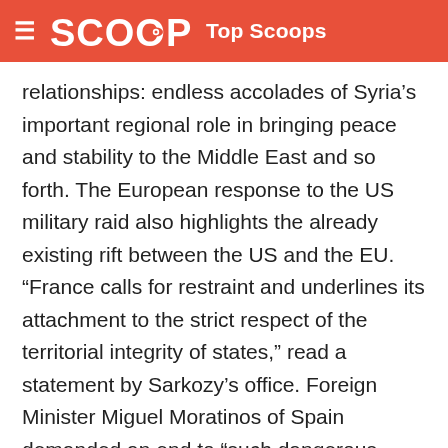≡ SCOOP Top Scoops
relationships: endless accolades of Syria’s important regional role in bringing peace and stability to the Middle East and so forth. The European response to the US military raid also highlights the already existing rift between the US and the EU. “France calls for restraint and underlines its attachment to the strict respect of the territorial integrity of states,” read a statement by Sarkozy’s office. Foreign Minister Miguel Moratinos of Spain demanded an end to “such dangerous events.”
The claims that US national security comes first, and that Al Qaeda terrorists are infiltrating the border into Iraq, hardly suffice. In recent weeks, US military